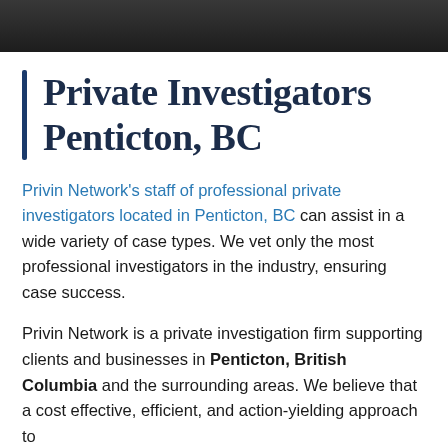[Figure (photo): Dark photograph banner at the top of the page, partially cropped, showing people in a dark/shadowy setting]
Private Investigators Penticton, BC
Privin Network's staff of professional private investigators located in Penticton, BC can assist in a wide variety of case types. We vet only the most professional investigators in the industry, ensuring case success.
Privin Network is a private investigation firm supporting clients and businesses in Penticton, British Columbia and the surrounding areas. We believe that a cost effective, efficient, and action-yielding approach to